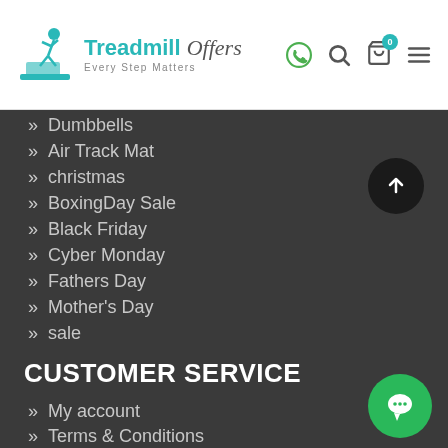Treadmill Offers — Every Step Matters
Dumbbells
Air Track Mat
christmas
BoxingDay Sale
Black Friday
Cyber Monday
Fathers Day
Mother's Day
sale
CUSTOMER SERVICE
My account
Terms & Conditions